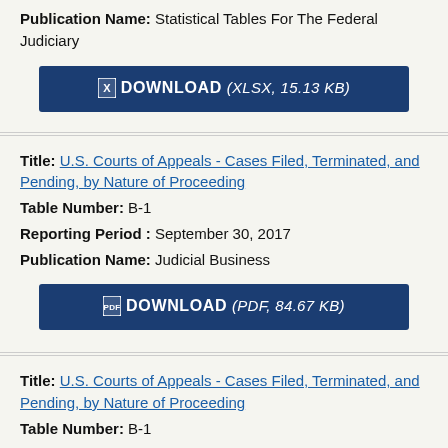Publication Name: Statistical Tables For The Federal Judiciary
DOWNLOAD (XLSX, 15.13 KB)
Title: U.S. Courts of Appeals - Cases Filed, Terminated, and Pending, by Nature of Proceeding
Table Number: B-1
Reporting Period : September 30, 2017
Publication Name: Judicial Business
DOWNLOAD (PDF, 84.67 KB)
Title: U.S. Courts of Appeals - Cases Filed, Terminated, and Pending, by Nature of Proceeding
Table Number: B-1
Reporting Period : June 30, 2017
Publication Name: Statistical Tables For The Federal Judiciary